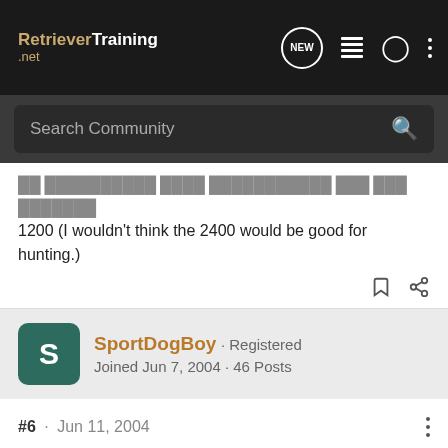RetrieverTraining.net
Search Community
1200 (I wouldn't think the 2400 would be good for hunting.)
SportDogBoy · Registered
Joined Jun 7, 2004 · 46 Posts
#6 · Jun 11, 2004
Potshot,

What were some of the things you did and didn't like about the SD-1200 and SD-2400? I will be glad to pass your comments on to our engineers and BIG CHEIF. We are always open for comments and suggestions because you all are the ones using